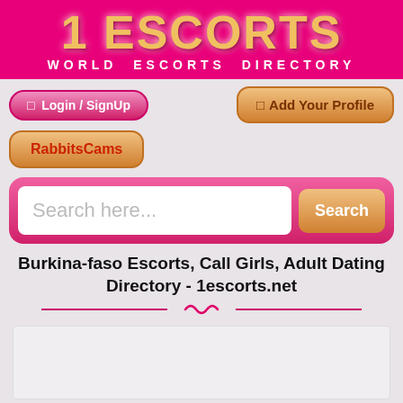[Figure (logo): 1 ESCORTS logo with gold text on hot pink background, subtitle WORLD ESCORTS DIRECTORY in white]
Login / SignUp
Add Your Profile
RabbitsCams
Search here...
Burkina-faso Escorts, Call Girls, Adult Dating Directory - 1escorts.net
[Figure (other): Decorative divider with pink lines and squiggle]